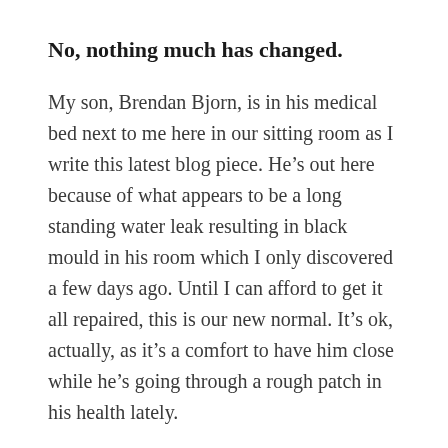No, nothing much has changed.
My son, Brendan Bjorn, is in his medical bed next to me here in our sitting room as I write this latest blog piece. He’s out here because of what appears to be a long standing water leak resulting in black mould in his room which I only discovered a few days ago. Until I can afford to get it all repaired, this is our new normal. It’s ok, actually, as it’s a comfort to have him close while he’s going through a rough patch in his health lately.